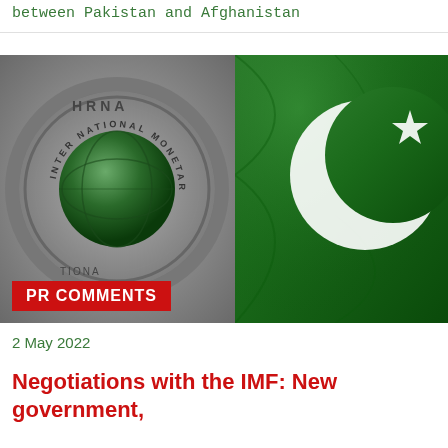between Pakistan and Afghanistan
[Figure (photo): Composite image of the IMF metallic seal/badge on the left and the Pakistani flag (green with white crescent and star) on the right, with a red 'PR COMMENTS' label overlay at the bottom left]
PR COMMENTS
2 May 2022
Negotiations with the IMF: New government,